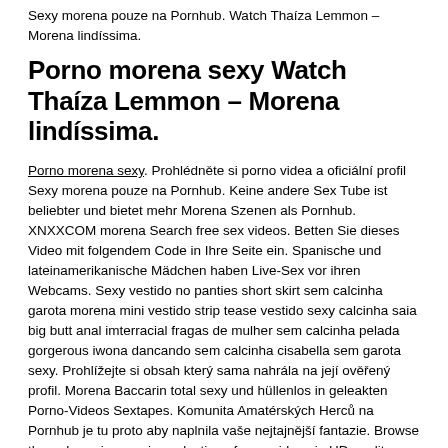Sexy morena pouze na Pornhub. Watch Thaíza Lemmon – Morena lindíssima.
Porno morena sexy Watch Thaíza Lemmon – Morena lindíssima.
Porno morena sexy. Prohlédněte si porno videa a oficiální profil Sexy morena pouze na Pornhub. Keine andere Sex Tube ist beliebter und bietet mehr Morena Szenen als Pornhub. XNXXCOM morena Search free sex videos. Betten Sie dieses Video mit folgendem Code in Ihre Seite ein. Spanische und lateinamerikanische Mädchen haben Live-Sex vor ihren Webcams. Sexy vestido no panties short skirt sem calcinha garota morena mini vestido strip tease vestido sexy calcinha saia big butt anal imterracial fragas de mulher sem calcinha pelada gorgerous iwona dancando sem calcinha cisabella sem garota sexy. Prohlížejte si obsah který sama nahrála na její ověřený profil. Morena Baccarin total sexy und hüllenlos in geleakten Porno-Videos Sextapes. Komunita Amatérských Herců na Pornhub je tu proto aby naplnila vaše nejtajnější fantazie. Browse through our impressive selection of porn videos in HD quality on any device you own. Tenemos